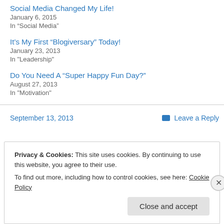Social Media Changed My Life!
January 6, 2015
In “Social Media”
It’s My First “Blogiversary” Today!
January 23, 2013
In "Leadership"
Do You Need A “Super Happy Fun Day?”
August 27, 2013
In "Motivation"
September 13, 2013
Leave a Reply
Privacy & Cookies: This site uses cookies. By continuing to use this website, you agree to their use.
To find out more, including how to control cookies, see here: Cookie Policy
Close and accept